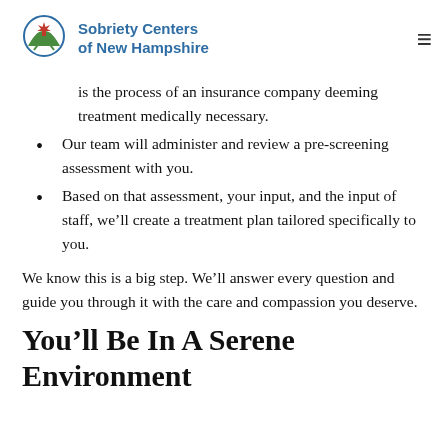Sobriety Centers of New Hampshire
is the process of an insurance company deeming treatment medically necessary.
Our team will administer and review a pre-screening assessment with you.
Based on that assessment, your input, and the input of staff, we'll create a treatment plan tailored specifically to you.
We know this is a big step. We'll answer every question and guide you through it with the care and compassion you deserve.
You'll Be In A Serene Environment